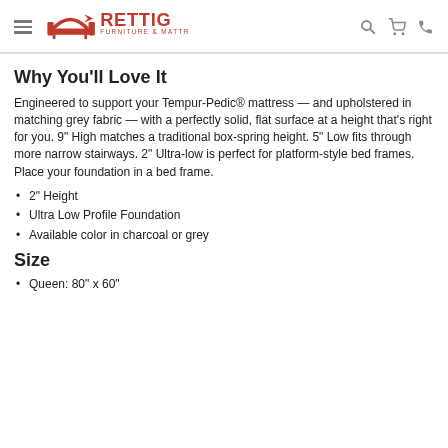Rettig Furniture & Mattress
Why You'll Love It
Engineered to support your Tempur-Pedic® mattress — and upholstered in matching grey fabric — with a perfectly solid, flat surface at a height that's right for you. 9" High matches a traditional box-spring height. 5" Low fits through more narrow stairways. 2" Ultra-low is perfect for platform-style bed frames. Place your foundation in a bed frame.
2" Height
Ultra Low Profile Foundation
Available color in charcoal or grey
Size
Queen: 80" x 60"